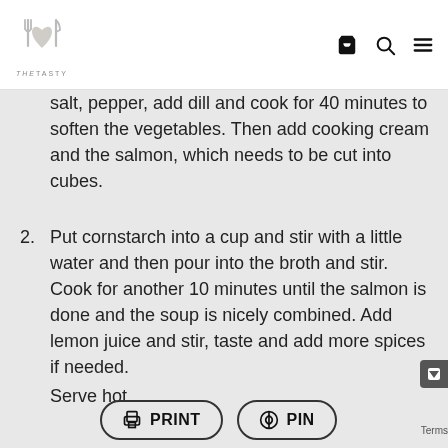TastyTASTY logo with cart, search, and menu icons
salt, pepper, add dill and cook for 40 minutes to soften the vegetables. Then add cooking cream and the salmon, which needs to be cut into cubes.
2. Put cornstarch into a cup and stir with a little water and then pour into the broth and stir. Cook for another 10 minutes until the salmon is done and the soup is nicely combined. Add lemon juice and stir, taste and add more spices if needed.
Serve hot.
PRINT  PIN